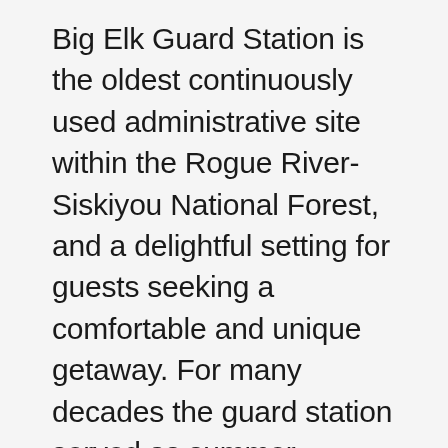Big Elk Guard Station is the oldest continuously used administrative site within the Rogue River-Siskiyou National Forest, and a delightful setting for guests seeking a comfortable and unique getaway. For many decades the guard station served as summer headquarters for solitary forest "guards" who built trails, fought forest fires and patrolled the land on horseback. Most recently the site was used to house Forest Service seasonal fire crews. The cabin is one of the few remaining examples of Forest Service log